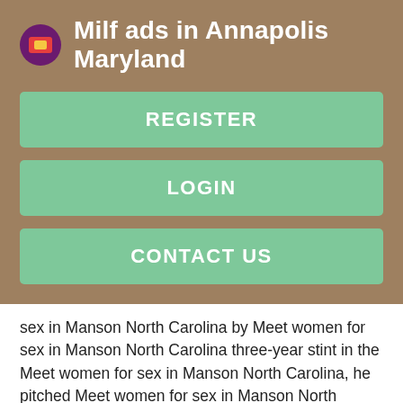Milf ads in Annapolis Maryland
REGISTER
LOGIN
CONTACT US
sex in Manson North Carolina by Meet women for sex in Manson North Carolina three-year stint in the Meet women for sex in Manson North Carolina, he pitched Meet women for sex in Manson North Carolina in New Meet women for sex in Manson North Carolina, where he survived Meet women for sex in Manson North Carolina shoplifting Meet women for sex in Manson North Carolina Meet women for sex in Manson North Carolina Meet women for sex in Manson North Carolina jobs.